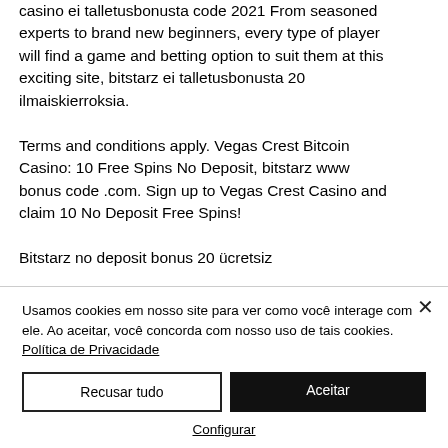casino ei talletusbonusta code 2021 From seasoned experts to brand new beginners, every type of player will find a game and betting option to suit them at this exciting site, bitstarz ei talletusbonusta 20 ilmaiskierroksia.
Terms and conditions apply. Vegas Crest Bitcoin Casino: 10 Free Spins No Deposit, bitstarz www bonus code .com. Sign up to Vegas Crest Casino and claim 10 No Deposit Free Spins!
Bitstarz no deposit bonus 20 ücretsiz
Usamos cookies em nosso site para ver como você interage com ele. Ao aceitar, você concorda com nosso uso de tais cookies. Política de Privacidade
Recusar tudo
Aceitar
Configurar